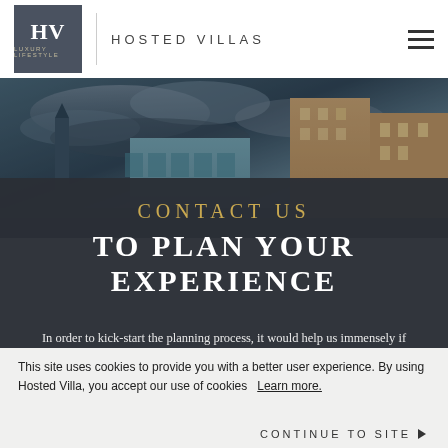HV | HOSTED VILLAS
[Figure (photo): Aerial or canal-side view of Venice-style buildings with dramatic cloudy sky and warm golden lighting on building facades]
CONTACT US TO PLAN YOUR EXPERIENCE
In order to kick-start the planning process, it would help us immensely if you could provide us with your contact details and answer a couple of quick questions about your travel plans. Please fill out and submit this form and we will be in touch shortly, or engage
This site uses cookies to provide you with a better user experience. By using Hosted Villa, you accept our use of cookies  Learn more.
CONTINUE TO SITE ▶